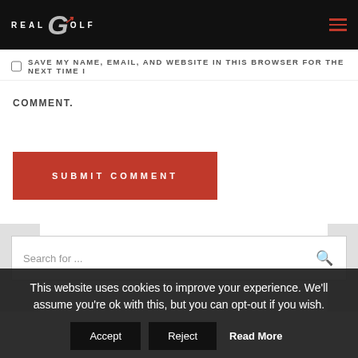REAL GOLF
SAVE MY NAME, EMAIL, AND WEBSITE IN THIS BROWSER FOR THE NEXT TIME I
COMMENT.
SUBMIT COMMENT
Search for ...
This website uses cookies to improve your experience. We'll assume you're ok with this, but you can opt-out if you wish.
Accept  Reject  Read More